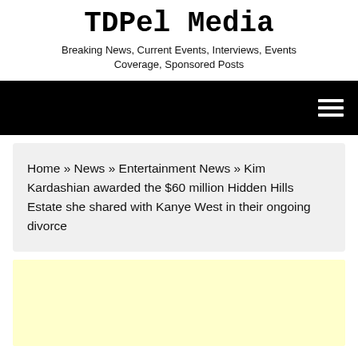TDPel Media
Breaking News, Current Events, Interviews, Events Coverage, Sponsored Posts
[Figure (other): Black navigation bar with hamburger menu icon (three white horizontal lines) on the right side]
Home » News » Entertainment News » Kim Kardashian awarded the $60 million Hidden Hills Estate she shared with Kanye West in their ongoing divorce
[Figure (other): Light yellow advertisement banner placeholder]